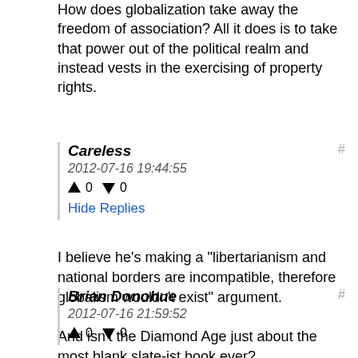How does globalization take away the freedom of association? All it does is to take that power out of the political realm and instead vests in the exercising of property rights.
Careless
2012-07-16 19:44:55
↑ 0 ↓ 0
Hide Replies
I believe he's making a "libertarianism and national borders are incompatible, therefore globalism wouldn't exist" argument.

And isn't the Diamond Age just about the most blank slate-ist book ever?
Brian Donohue
2012-07-16 21:59:52
↑ 0 ↓ 0